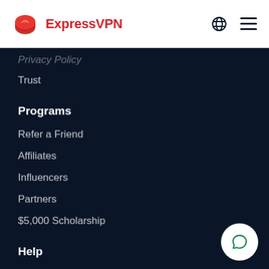ExpressVPN
Privacy Policy
Trust
Programs
Refer a Friend
Affiliates
Influencers
Partners
$5,000 Scholarship
Help
Support Center
VPN Setup Tutorials